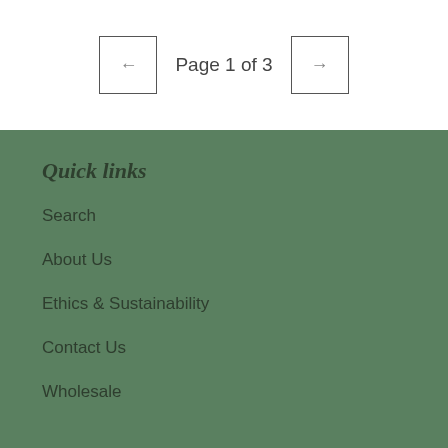Page 1 of 3
Quick links
Search
About Us
Ethics & Sustainability
Contact Us
Wholesale